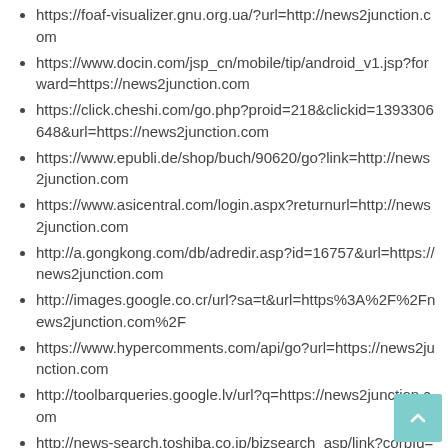https://foaf-visualizer.gnu.org.ua/?url=http://news2junction.com
https://www.docin.com/jsp_cn/mobile/tip/android_v1.jsp?forward=https://news2junction.com
https://click.cheshi.com/go.php?proid=218&clickid=1393306648&url=https://news2junction.com
https://www.epubli.de/shop/buch/90620/go?link=http://news2junction.com
https://www.asicentral.com/login.aspx?returnurl=http://news2junction.com
http://a.gongkong.com/db/adredir.asp?id=16757&url=https://news2junction.com
http://images.google.co.cr/url?sa=t&url=https%3A%2F%2Fnews2junction.com%2F
https://www.hypercomments.com/api/go?url=https://news2junction.com
http://toolbarqueries.google.lv/url?q=https://news2junction.com
http://news-search.toshiba.co.jp/bizsearch_asp/link?corpId=atc130025&q=Hong+Kong&thumbnail=images/thu